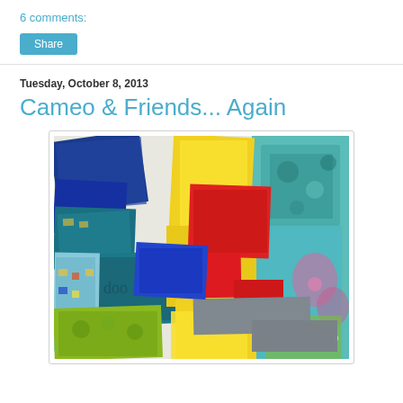6 comments:
Share
Tuesday, October 8, 2013
Cameo & Friends... Again
[Figure (photo): A pile of colorful fabric fat quarters and scraps in blue, yellow, red, teal, and patterned fabrics spread out on a white surface.]